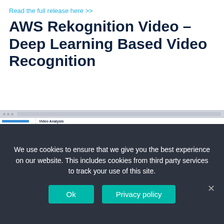Read the full release here >>
AWS Rekognition Video – Deep Learning Based Video Recognition
[Figure (screenshot): Screenshot of AWS Rekognition Video Analysis interface showing sidebar navigation, video analysis results with counts (27 Concepts, 0 Celebrities, 22 Objects and activities, 0 Unsafe content), object detection tags, a progress bar, and a video thumbnail showing people in a scene.]
We use cookies to ensure that we give you the best experience on our website. This includes cookies from third party services to track your use of this site.
Ok
Privacy policy